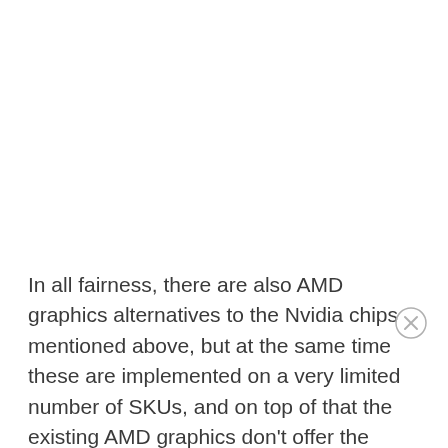In all fairness, there are also AMD graphics alternatives to the Nvidia chips mentioned above, but at the same time these are implemented on a very limited number of SKUs, and on top of that the existing AMD graphics don't offer the same kind of performance per watt as the Nvidia options, so are not that well suited for mobile builds, at least for the time being. There are few signs this will change in